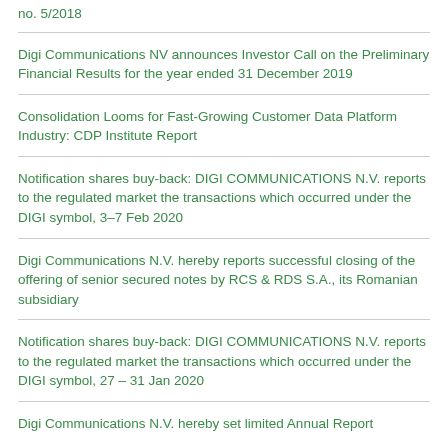no. 5/2018
Digi Communications NV announces Investor Call on the Preliminary Financial Results for the year ended 31 December 2019
Consolidation Looms for Fast-Growing Customer Data Platform Industry: CDP Institute Report
Notification shares buy-back: DIGI COMMUNICATIONS N.V. reports to the regulated market the transactions which occurred under the DIGI symbol, 3–7 Feb 2020
Digi Communications N.V. hereby reports successful closing of the offering of senior secured notes by RCS & RDS S.A., its Romanian subsidiary
Notification shares buy-back: DIGI COMMUNICATIONS N.V. reports to the regulated market the transactions which occurred under the DIGI symbol, 27 – 31 Jan 2020
Digi Communications N.V. hereby set limited Annual Report